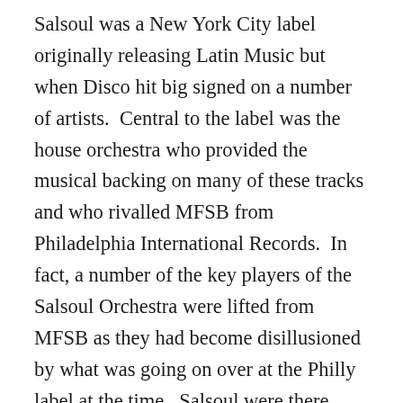Salsoul was a New York City label originally releasing Latin Music but when Disco hit big signed on a number of artists.  Central to the label was the house orchestra who provided the musical backing on many of these tracks and who rivalled MFSB from Philadelphia International Records.  In fact, a number of the key players of the Salsoul Orchestra were lifted from MFSB as they had become disillusioned by what was going on over at the Philly label at the time.  Salsoul were there from the early days of disco with the Orchestra producing with their debut album one of the all-time classics of the genre and scoring a 1976 Pop Top 20 hit with a sublime reworking of the standard “Tangerine”.  When disco went underground DJ’s were still heavily featuring tunes from this label and remixing and re-